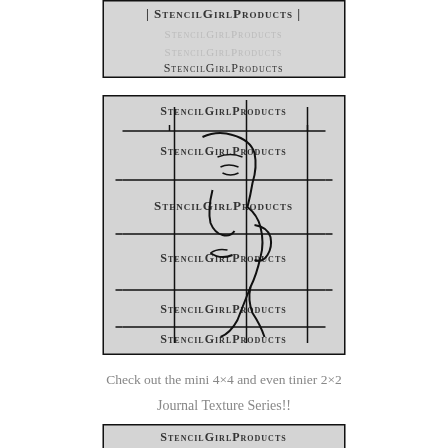[Figure (illustration): Top cropped image of a StencilGirl Products stencil with watermark text repeated on gray background]
[Figure (illustration): Middle image of a StencilGirl Products stencil showing a face profile with grid lines and repeated watermark text on gray background]
Check out the mini 4×4 and even tinier 2×2
Journal Texture Series!!
[Figure (illustration): Bottom partially visible image of a StencilGirl Products stencil with dotted/circle pattern texture and watermark text]